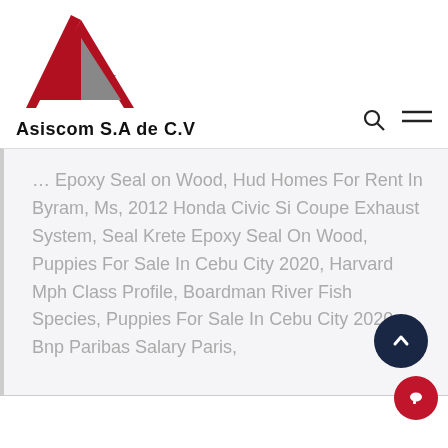[Figure (logo): Asiscom S.A de C.V logo — red and grey triangular A shape above company name in bold black text]
... Epoxy Seal on Wood, Hud Homes For Rent In Byram, Ms, 2012 Honda Civic Si Coupe Exhaust System, Seal Krete Epoxy Seal On Wood, Puppies For Sale In Cebu City 2020, Harvard Mph Class Profile, Boardman River Fish Species, Puppies For Sale In Cebu City 2020, Bnp Paribas Salary Paris,